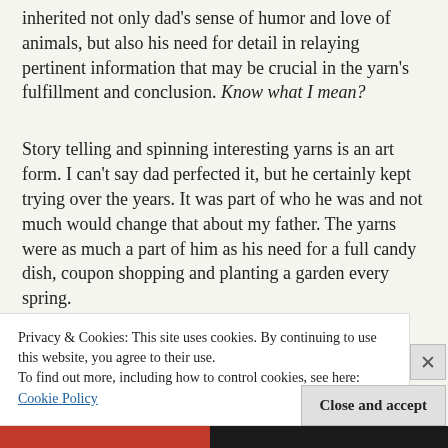inherited not only dad's sense of humor and love of animals, but also his need for detail in relaying pertinent information that may be crucial in the yarn's fulfillment and conclusion. Know what I mean?
Story telling and spinning interesting yarns is an art form. I can't say dad perfected it, but he certainly kept trying over the years. It was part of who he was and not much would change that about my father. The yarns were as much a part of him as his need for a full candy dish, coupon shopping and planting a garden every spring.
Privacy & Cookies: This site uses cookies. By continuing to use this website, you agree to their use. To find out more, including how to control cookies, see here: Cookie Policy